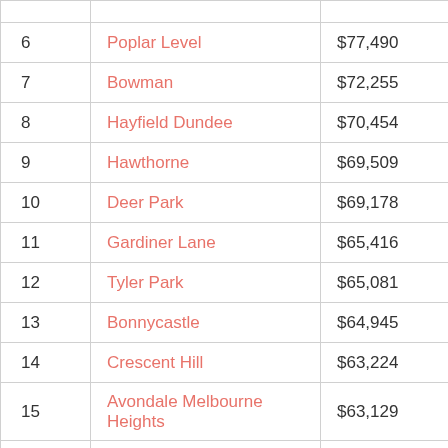|  |  |  |
| --- | --- | --- |
| 6 | Poplar Level | $77,490 |
| 7 | Bowman | $72,255 |
| 8 | Hayfield Dundee | $70,454 |
| 9 | Hawthorne | $69,509 |
| 10 | Deer Park | $69,178 |
| 11 | Gardiner Lane | $65,416 |
| 12 | Tyler Park | $65,081 |
| 13 | Bonnycastle | $64,945 |
| 14 | Crescent Hill | $63,224 |
| 15 | Avondale Melbourne Heights | $63,129 |
| 16 | Hikes Point | $62,072 |